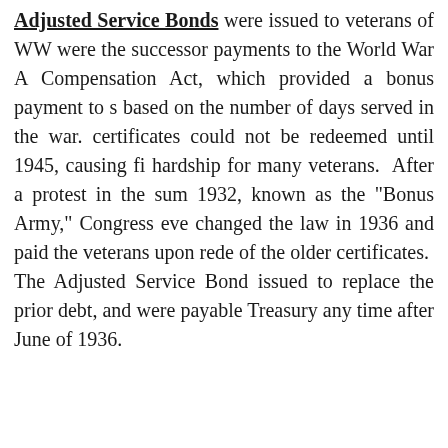Adjusted Service Bonds were issued to veterans of WW were the successor payments to the World War A Compensation Act, which provided a bonus payment to s based on the number of days served in the war. certificates could not be redeemed until 1945, causing fi hardship for many veterans. After a protest in the sum 1932, known as the "Bonus Army," Congress eve changed the law in 1936 and paid the veterans upon rede of the older certificates. The Adjusted Service Bond issued to replace the prior debt, and were payable Treasury any time after June of 1936.